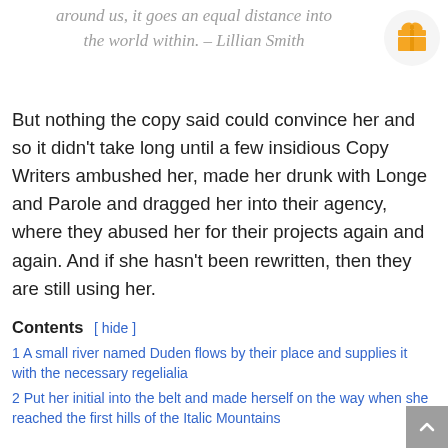around us, it goes an equal distance into the world within. – Lillian Smith
[Figure (illustration): Gift box icon in orange/yellow on a light grey circular background]
But nothing the copy said could convince her and so it didn't take long until a few insidious Copy Writers ambushed her, made her drunk with Longe and Parole and dragged her into their agency, where they abused her for their projects again and again. And if she hasn't been rewritten, then they are still using her.
Contents [ hide ]
1 A small river named Duden flows by their place and supplies it with the necessary regelialia
2 Put her initial into the belt and made herself on the way when she reached the first hills of the Italic Mountains